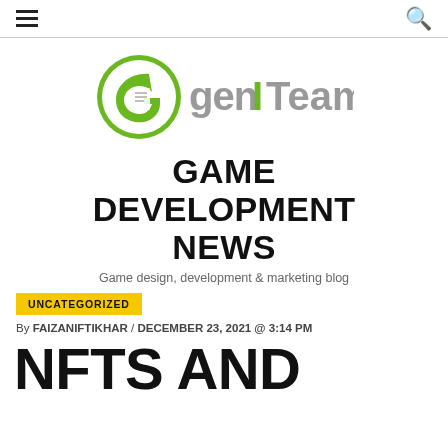≡  🔍
[Figure (logo): GenITeam logo — green circle with stylized G letter icon on left, 'genITeam' text on right in gray with green 'I' accent]
GAME DEVELOPMENT NEWS
Game design, development & marketing blog
UNCATEGORIZED
By FAIZANIFTIKHAR / DECEMBER 23, 2021 @ 3:14 PM
NFTS AND